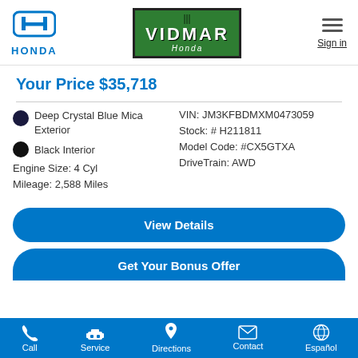[Figure (logo): Honda logo with H emblem and HONDA text in blue]
[Figure (logo): Vidmar Honda dealer logo, green background with white VIDMAR text and Honda italic text]
Sign in
Your Price $35,718
Deep Crystal Blue Mica Exterior
Black Interior
Engine Size: 4 Cyl
Mileage: 2,588 Miles
VIN: JM3KFBDMXM0473059
Stock: # H211811
Model Code: #CX5GTXA
DriveTrain: AWD
View Details
Get Your Bonus Offer
Call  Service  Directions  Contact  Español